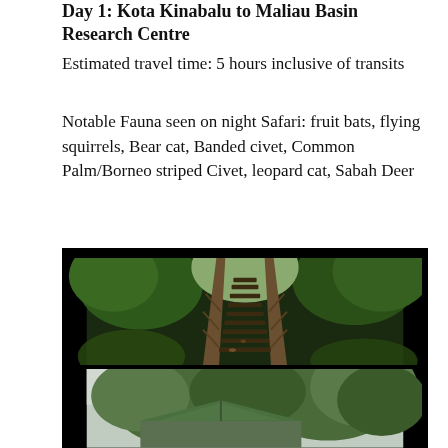Day 1: Kota Kinabalu to Maliau Basin Research Centre
Estimated travel time: 5 hours inclusive of transits
Notable Fauna seen on night Safari: fruit bats, flying squirrels, Bear cat, Banded civet, Common Palm/Borneo striped Civet, leopard cat, Sabah Deer
[Figure (photo): Two stacked photos: top shows wooden stairs/boardwalk leading up through dense tropical rainforest vegetation; bottom shows rooftop of a building surrounded by lush green forest canopy under overcast sky]